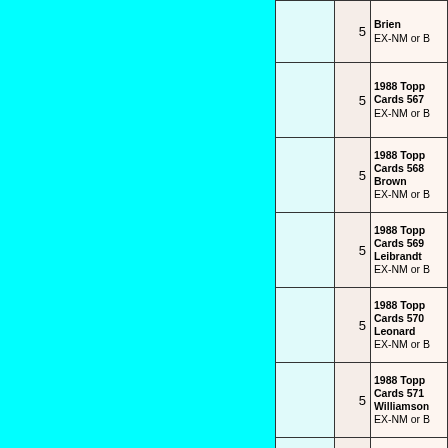| Image | Qty | Description |
| --- | --- | --- |
|  | 5 | Brien
EX-NM or B |
|  | 5 | 1988 Topp Cards 567
EX-NM or B |
|  | 5 | 1988 Topp Cards 568 Brown
EX-NM or B |
|  | 5 | 1988 Topp Cards 569 Leibrandt
EX-NM or B |
|  | 5 | 1988 Topp Cards 570 Leonard
EX-NM or B |
|  | 5 | 1988 Topp Cards 571 Williamson
EX-NM or B |
|  | 5 | 1988 Topp Cards 572 James
EX-NM or B |
|  |  | 1988 Tor... |